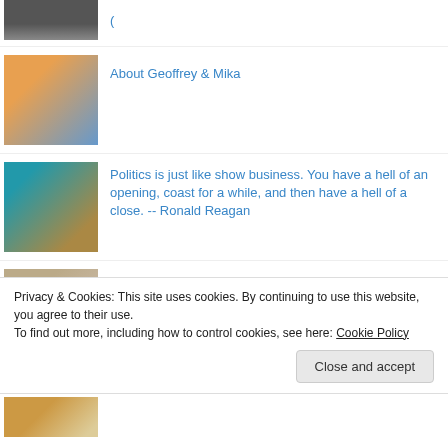[Figure (photo): Partial top thumbnail image, dark tones, partially cut off]
(link text partially cut off at top)
[Figure (photo): Photo of a man with glasses]
About Geoffrey & Mika
[Figure (photo): Photo of a camera/microphone setup on a teal background]
Politics is just like show business. You have a hell of an opening, coast for a while, and then have a hell of a close. -- Ronald Reagan
[Figure (photo): Photo of a historic building or ruins]
I think gay men are more masculine than straight men. Because, guess what? They love other men! --
Privacy & Cookies: This site uses cookies. By continuing to use this website, you agree to their use.
To find out more, including how to control cookies, see here: Cookie Policy
Close and accept
[Figure (photo): Partial bottom thumbnail, warm brown tones, partially cut off]